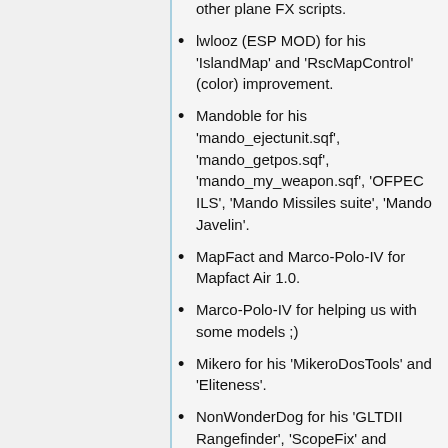other plane FX scripts.
lwlooz (ESP MOD) for his 'IslandMap' and 'RscMapControl' (color) improvement.
Mandoble for his 'mando_ejectunit.sqf', 'mando_getpos.sqf', 'mando_my_weapon.sqf', 'OFPEC ILS', 'Mando Missiles suite', 'Mando Javelin'.
MapFact and Marco-Polo-IV for Mapfact Air 1.0.
Marco-Polo-IV for helping us with some models ;)
Mikero for his 'MikeroDosTools' and 'Eliteness'.
NonWonderDog for his 'GLTDII Rangefinder', 'ScopeFix' and 'Ballistics'.
norrin for his HuntIR script